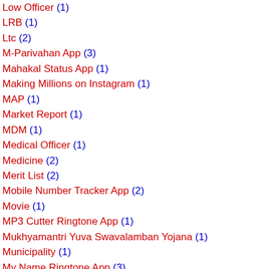Low Officer (1)
LRB (1)
Ltc (2)
M-Parivahan App (3)
Mahakal Status App (1)
Making Millions on Instagram (1)
MAP (1)
Market Report (1)
MDM (1)
Medical Officer (1)
Medicine (2)
Merit List (2)
Mobile Number Tracker App (2)
Movie (1)
MP3 Cutter Ringtone App (1)
Mukhyamantri Yuva Swavalamban Yojana (1)
Municipality (1)
My Name Ringtone App (3)